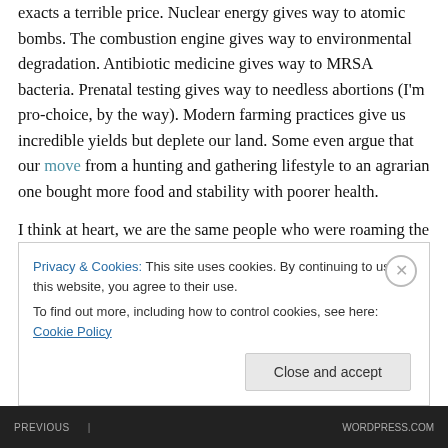exacts a terrible price.  Nuclear energy gives way to atomic bombs.  The combustion engine gives way to environmental degradation.  Antibiotic medicine gives way to MRSA bacteria.  Prenatal testing gives way to needless abortions (I'm pro-choice, by the way).  Modern farming practices give us incredible yields but deplete our land.  Some even argue that our move from a hunting and gathering lifestyle to an agrarian one bought more food and stability with poorer health.
I think at heart, we are the same people who were roaming the earth all those years ago.  People who
Privacy & Cookies: This site uses cookies. By continuing to use this website, you agree to their use.
To find out more, including how to control cookies, see here: Cookie Policy
Close and accept